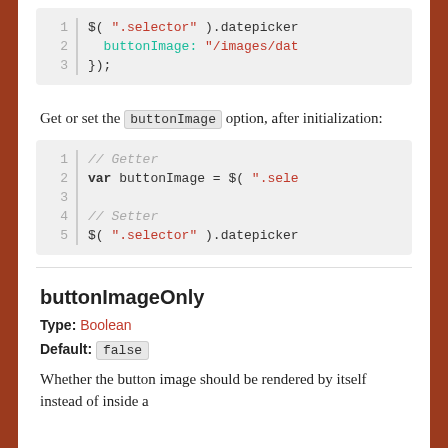[Figure (screenshot): Code block showing lines 1-3: $('.selector').datepicker with buttonImage: '/images/dat and });]
Get or set the buttonImage option, after initialization:
[Figure (screenshot): Code block showing lines 1-5: // Getter, var buttonImage = $('.sele, (blank line), // Setter, $('.selector').datepicker]
buttonImageOnly
Type: Boolean
Default: false
Whether the button image should be rendered by itself instead of inside a